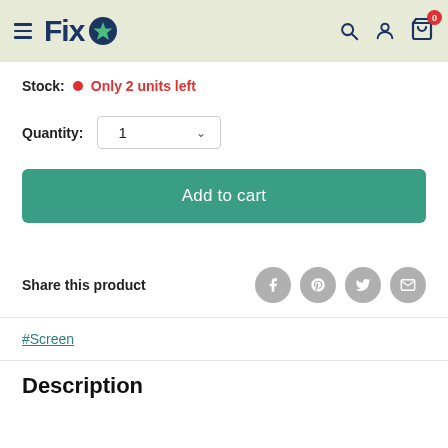[Figure (logo): Fixo logo with star icon, dark blue text on light green header background]
Stock: Only 2 units left
Quantity: 1
Add to cart
Share this product
#Screen
Description